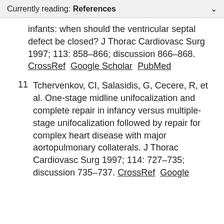Currently reading: References
infants: when should the ventricular septal defect be closed? J Thorac Cardiovasc Surg 1997; 113: 858–866; discussion 866–868. CrossRef  Google Scholar  PubMed
11  Tchervenkov, CI, Salasidis, G, Cecere, R, et al. One-stage midline unifocalization and complete repair in infancy versus multiple-stage unifocalization followed by repair for complex heart disease with major aortopulmonary collaterals. J Thorac Cardiovasc Surg 1997; 114: 727–735; discussion 735–737. CrossRef  Google